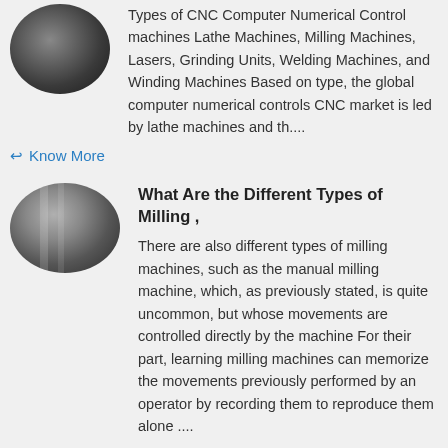[Figure (photo): Oval-shaped dark photo of a CNC or industrial machine, cropped at top of page]
Types of CNC Computer Numerical Control machines Lathe Machines, Milling Machines, Lasers, Grinding Units, Welding Machines, and Winding Machines Based on type, the global computer numerical controls CNC market is led by lathe machines and th....
Know More
[Figure (photo): Oval-shaped photo of industrial milling machine columns/parts in grey tones]
What Are the Different Types of Milling ,
There are also different types of milling machines, such as the manual milling machine, which, as previously stated, is quite uncommon, but whose movements are controlled directly by the machine For their part, learning milling machines can memorize the movements previously performed by an operator by recording them to reproduce them alone ....